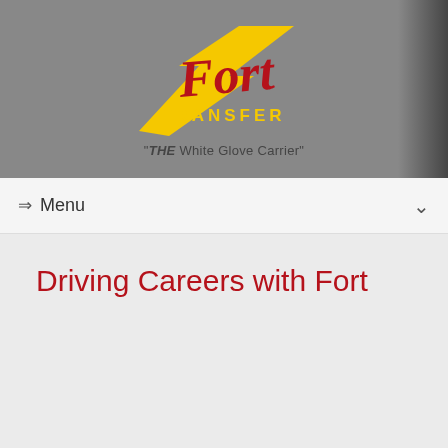[Figure (logo): Fort Transfer logo with yellow lightning bolt and red cursive 'Fort' text above yellow 'TRANSFER' text, on a gray background]
"THE White Glove Carrier"
⇒ Menu
Driving Careers with Fort